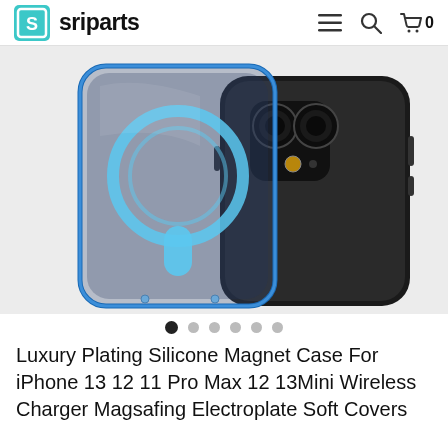sriparts
[Figure (photo): Product photo showing a blue metallic bumper/magnet case for iPhone alongside an iPhone with dual cameras, on a white background]
Luxury Plating Silicone Magnet Case For iPhone 13 12 11 Pro Max 12 13Mini Wireless Charger Magsafing Electroplate Soft Covers